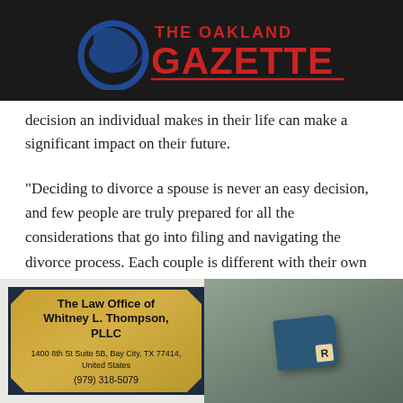The Oakland Gazette
decision an individual makes in their life can make a significant impact on their future.
“Deciding to divorce a spouse is never an easy decision, and few people are truly prepared for all the considerations that go into filing and navigating the divorce process. Each couple is different with their own unique challenges and financial circumstances that will enter into the process,” says the Bay City divorce lawyer.
[Figure (photo): Law office business card for The Law Office of Whitney L. Thompson, PLLC, located at 1400 8th St Suite 5B, Bay City, TX 77414, United States. Phone: (979) 318-5079. Beside it is a dark teal book with a Scrabble tile showing the letter R.]